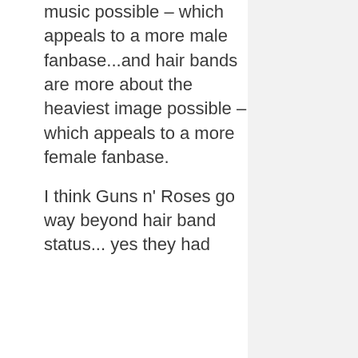music possible – which appeals to a more male fanbase...and hair bands are more about the heaviest image possible – which appeals to a more female fanbase.
I think Guns n' Roses go way beyond hair band status... yes they had